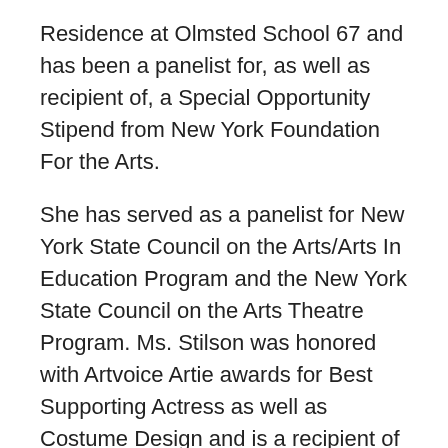Residence at Olmsted School 67 and has been a panelist for, as well as recipient of, a Special Opportunity Stipend from New York Foundation For the Arts.
She has served as a panelist for New York State Council on the Arts/Arts In Education Program and the New York State Council on the Arts Theatre Program. Ms. Stilson was honored with Artvoice Artie awards for Best Supporting Actress as well as Costume Design and is a recipient of the Pathfinder award for excellence in education from Business First and Buffalo Alliance for Education. Ms. Stilson has been a member of the staff of Alleyway Theatre since 1989 during which time she has acted, directed or designed for dozens of productions.
Summer, 2018 Course Offerings